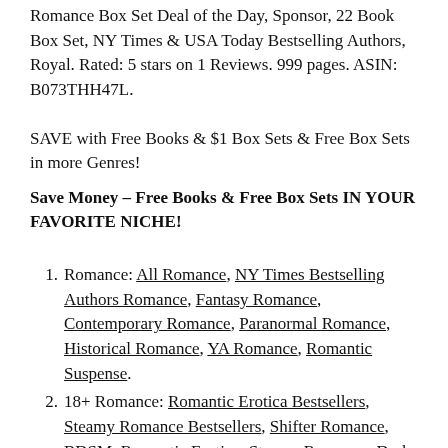Romance Box Set Deal of the Day, Sponsor, 22 Book Box Set, NY Times & USA Today Bestselling Authors, Royal. Rated: 5 stars on 1 Reviews. 999 pages. ASIN: B073THH47L.
SAVE with Free Books & $1 Box Sets & Free Box Sets in more Genres!
Save Money – Free Books & Free Box Sets IN YOUR FAVORITE NICHE!
Romance: All Romance, NY Times Bestselling Authors Romance, Fantasy Romance, Contemporary Romance, Paranormal Romance, Historical Romance, YA Romance, Romantic Suspense.
18+ Romance: Romantic Erotica Bestsellers, Steamy Romance Bestsellers, Shifter Romance, BDSM, Romantic Erotica, Steamy Romance, Dark Romance.